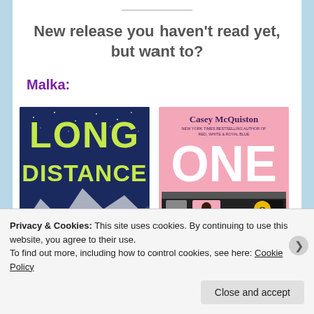New release you haven't read yet, but want to?
Malka:
[Figure (photo): Book cover of 'Long Distance' — dark blue background with green text and illustrated mountains and a person]
[Figure (photo): Book cover of a Casey McQuiston novel on pink background with large white lettering 'ONE' and illustrated characters on a subway]
Privacy & Cookies: This site uses cookies. By continuing to use this website, you agree to their use.
To find out more, including how to control cookies, see here: Cookie Policy
Close and accept